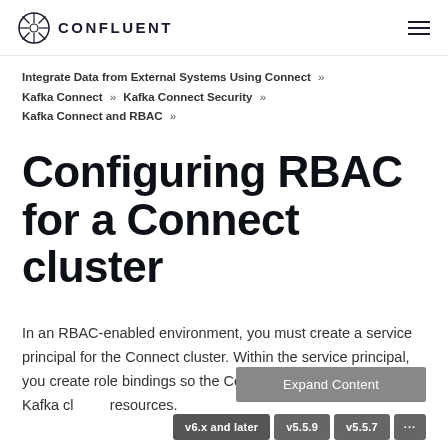CONFLUENT
Integrate Data from External Systems Using Connect » Kafka Connect » Kafka Connect Security » Kafka Connect and RBAC »
Configuring RBAC for a Connect cluster
In an RBAC-enabled environment, you must create a service principal for the Connect cluster. Within the service principal, you create role bindings so the Connect cluster can access the Kafka cl resources.
Expand Content
v6.x and later  v5.5.9  v5.5.7  ...